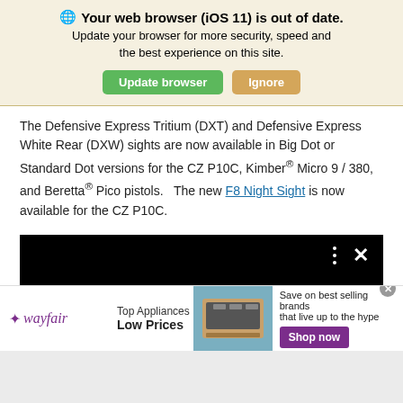[Figure (screenshot): Browser out-of-date warning banner with globe icon, bold warning text, subtitle text, and two buttons: green 'Update browser' and tan 'Ignore']
The Defensive Express Tritium (DXT) and Defensive Express White Rear (DXW) sights are now available in Big Dot or Standard Dot versions for the CZ P10C, Kimber® Micro 9 / 380, and Beretta® Pico pistols.   The new F8 Night Sight is now available for the CZ P10C.
[Figure (screenshot): Black video player area with three vertical dots menu icon and X close button in upper right corner]
[Figure (screenshot): Wayfair advertisement banner: wayfair logo on left, 'Top Appliances Low Prices' text, appliance photo in center, 'Save on best selling brands that live up to the hype' text and purple 'Shop now' button on right, with X close button in top right]